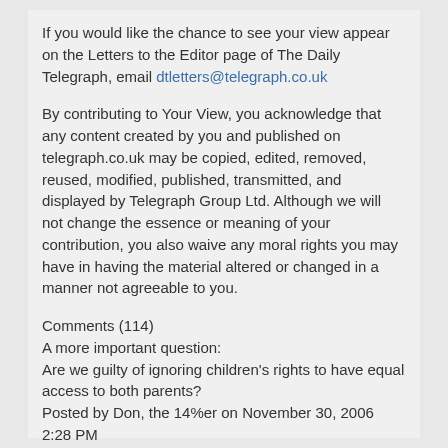If you would like the chance to see your view appear on the Letters to the Editor page of The Daily Telegraph, email dtletters@telegraph.co.uk
By contributing to Your View, you acknowledge that any content created by you and published on telegraph.co.uk may be copied, edited, removed, reused, modified, published, transmitted, and displayed by Telegraph Group Ltd. Although we will not change the essence or meaning of your contribution, you also waive any moral rights you may have in having the material altered or changed in a manner not agreeable to you.
Comments (114)
A more important question:
Are we guilty of ignoring children's rights to have equal access to both parents?
Posted by Don, the 14%er on November 30, 2006 2:28 PM
Report this comment
The Families Courts desperately require the coming of another intellect like that of Lord Denning to save innocent people, mothers, fathers and children from a tragic anomaly that must